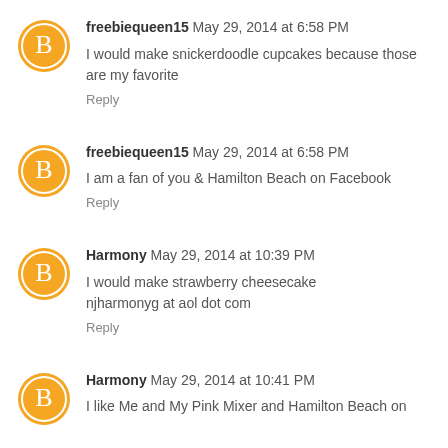freebiequeen15 May 29, 2014 at 6:58 PM
I would make snickerdoodle cupcakes because those are my favorite
Reply
freebiequeen15 May 29, 2014 at 6:58 PM
I am a fan of you & Hamilton Beach on Facebook
Reply
Harmony May 29, 2014 at 10:39 PM
I would make strawberry cheesecake njharmonyg at aol dot com
Reply
Harmony May 29, 2014 at 10:41 PM
I like Me and My Pink Mixer and Hamilton Beach on